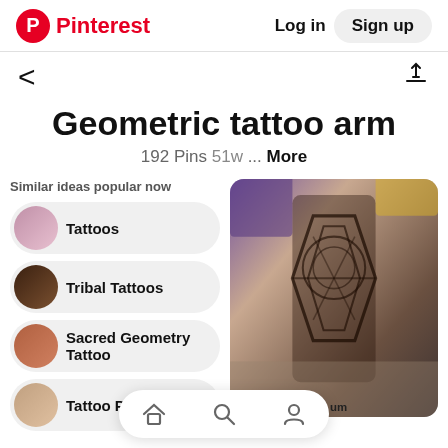Pinterest  Log in  Sign up
< (back navigation)
Geometric tattoo arm
192 Pins 51w ... More
Similar ideas popular now
Tattoos
Tribal Tattoos
Sacred Geometry Tattoo
Tattoo Pattern
[Figure (photo): Geometric tattoo on arm/leg with intricate black mandala and geometric patterns]
Prepare-se para um